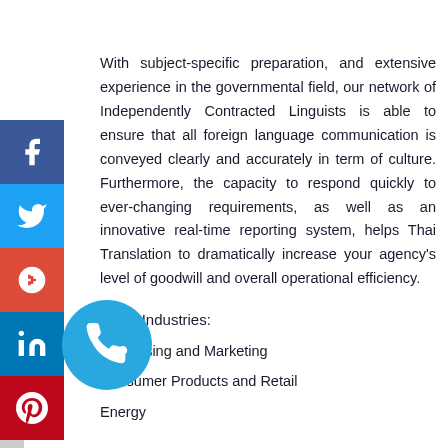With subject-specific preparation, and extensive experience in the governmental field, our network of Independently Contracted Linguists is able to ensure that all foreign language communication is conveyed clearly and accurately in term of culture. Furthermore, the capacity to respond quickly to ever-changing requirements, as well as an innovative real-time reporting system, helps Thai Translation to dramatically increase your agency's level of goodwill and overall operational efficiency.
Other Industries:
Advertising and Marketing
Consumer Products and Retail
Energy